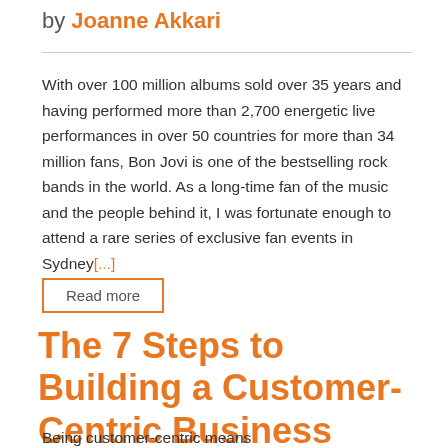by Joanne Akkari
With over 100 million albums sold over 35 years and having performed more than 2,700 energetic live performances in over 50 countries for more than 34 million fans, Bon Jovi is one of the bestselling rock bands in the world. As a long-time fan of the music and the people behind it, I was fortunate enough to attend a rare series of exclusive fan events in Sydney[...]
Read more
The 7 Steps to Building a Customer-Centric Business Culture
Being customer-centric means